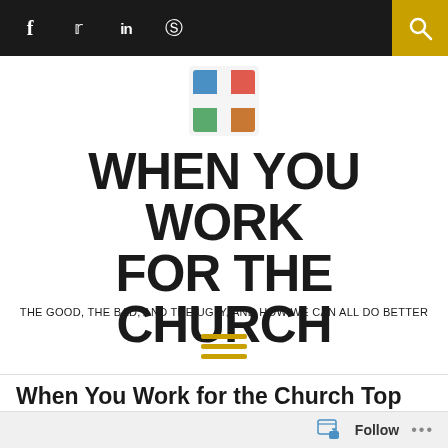f  t  in  p  [search]
[Figure (logo): Colorful cross/plus logo made of four colored corner pieces: blue top-left, red top-right, green bottom-left, orange bottom-right]
WHEN YOU WORK FOR THE CHURCH
THE GOOD, THE BAD, AND THE UGLY, AND HOW WE CAN ALL DO BETTER
[Figure (other): Hamburger menu icon with three horizontal gold/yellow lines]
When You Work for the Church Top Articles from 2017
BY APRIL YAMASAKI  |  DECEMBER 14, 2017
Follow  ...